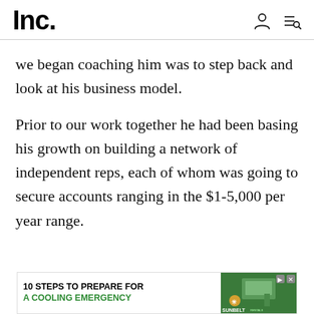Inc.
we began coaching him was to step back and look at his business model.
Prior to our work together he had been basing his growth on building a network of independent reps, each of whom was going to secure accounts ranging in the $1-5,000 per year range.
[Figure (other): Advertisement banner: '10 STEPS TO PREPARE FOR A COOLING EMERGENCY' with Sunbelt Rentals branding and a photo of a technician working on HVAC equipment]